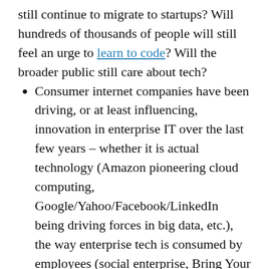still continue to migrate to startups? Will hundreds of thousands of people will still feel an urge to learn to code? Will the broader public still care about tech?
Consumer internet companies have been driving, or at least influencing, innovation in enterprise IT over the last few years – whether it is actual technology (Amazon pioneering cloud computing, Google/Yahoo/Facebook/LinkedIn being driving forces in big data, etc.), the way enterprise tech is consumed by employees (social enterprise, Bring Your Own Device, etc.) or the way it has been sold to enterprises (freemium plays that bypass the CIO). What happens to this phenomenon,